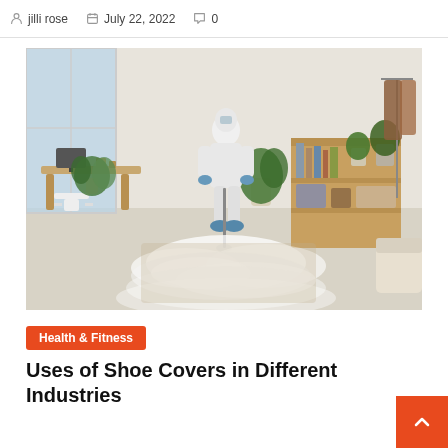jilli rose  July 22, 2022  0
[Figure (photo): A person in a white hazmat/protective suit cleaning or disinfecting a carpet in a bright modern living room, with steam or fog rising from the floor. The room has a wooden bookshelf, plants, a desk, and hanging clothes in the background.]
Health & Fitness
Uses of Shoe Covers in Different Industries